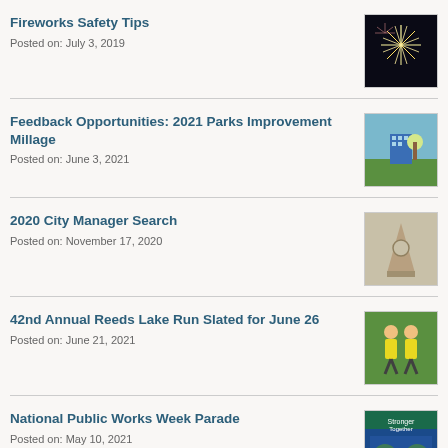Fireworks Safety Tips
Posted on: July 3, 2019
Feedback Opportunities: 2021 Parks Improvement Millage
Posted on: June 3, 2021
2020 City Manager Search
Posted on: November 17, 2020
42nd Annual Reeds Lake Run Slated for June 26
Posted on: June 21, 2021
National Public Works Week Parade
Posted on: May 10, 2021
2021 Hall Street Project...